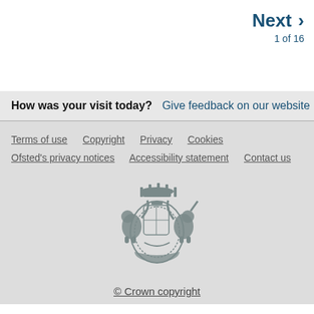Next 1 of 16
How was your visit today? Give feedback on our website
Terms of use  Copyright  Privacy  Cookies  Ofsted's privacy notices  Accessibility statement  Contact us
[Figure (logo): UK Government Royal Coat of Arms in grey]
© Crown copyright